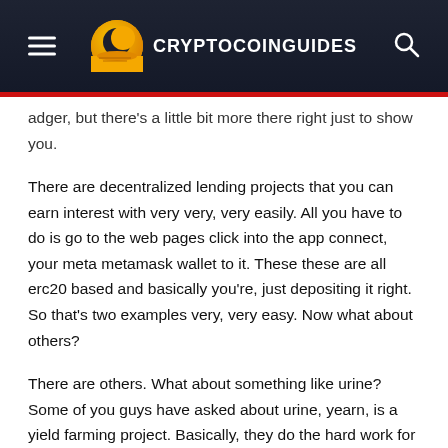CRYPTOCOINGUIDES
adger, but there's a little bit more there right just to show you.
There are decentralized lending projects that you can earn interest with very very, very easily. All you have to do is go to the web pages click into the app connect, your meta metamask wallet to it. These these are all erc20 based and basically you're, just depositing it right. So that's two examples very, very easy. Now what about others?
There are others. What about something like urine? Some of you guys have asked about urine, yearn, is a yield farming project. Basically, they do the hard work for you when you deposit into their vault. They will automatically look at all these other projects like avant compound and many others, and see what is the best way to make money.
So by doing that, they give you some pretty good rewards much